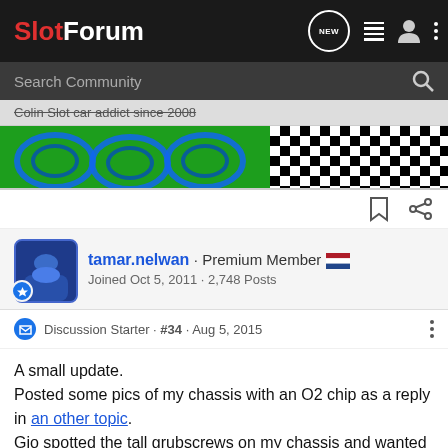SlotForum - Search Community
Colin  Slot car addict since 2008
[Figure (photo): Banner image: left side shows slot cars on green track, right side shows black and white checkered flag pattern]
tamar.nelwan · Premium Member 🇳🇱
Joined Oct 5, 2011 · 2,748 Posts
Discussion Starter · #34 · Aug 5, 2015
A small update.
Posted some pics of my chassis with an O2 chip as a reply in an other topic.
Gio spotted the tall grubscrews on my chassis and wanted to know why and how.